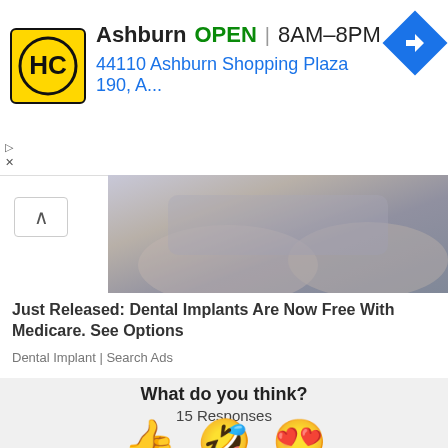[Figure (screenshot): Ad banner with HC logo, Ashburn location, OPEN status, hours 8AM-8PM, address 44110 Ashburn Shopping Plaza 190, A..., navigation icon]
[Figure (photo): Partial photo of a person's torso/arms in a grey top]
Just Released: Dental Implants Are Now Free With Medicare. See Options
Dental Implant | Search Ads
What do you think?
15 Responses
[Figure (infographic): Three emoji reaction buttons: thumbs up (Upvote), laughing tongue-out face (Funny), heart-eyes face (Love)]
[Figure (infographic): Three partially visible emoji reaction buttons at bottom: surprised face, sick/mask face, crying face]